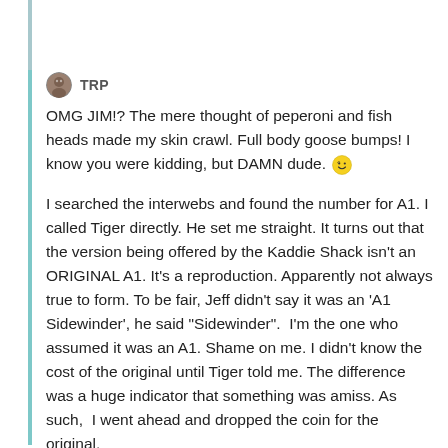TRP
OMG JIM!? The mere thought of peperoni and fish heads made my skin crawl. Full body goose bumps! I know you were kidding, but DAMN dude. 🙂
I searched the interwebs and found the number for A1. I called Tiger directly. He set me straight. It turns out that the version being offered by the Kaddie Shack isn't an ORIGINAL A1. It's a reproduction. Apparently not always true to form. To be fair, Jeff didn't say it was an 'A1 Sidewinder', he said "Sidewinder". I'm the one who assumed it was an A1. Shame on me. I didn't know the cost of the original until Tiger told me. The difference was a huge indicator that something was amiss. As such, I went ahead and dropped the coin for the original.